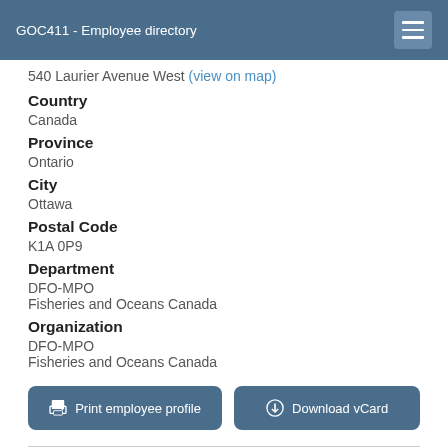GOC411 - Employee directory
540 Laurier Avenue West (view on map)
Country
Canada
Province
Ontario
City
Ottawa
Postal Code
K1A 0P9
Department
DFO-MPO
Fisheries and Oceans Canada
Organization
DFO-MPO
Fisheries and Oceans Canada